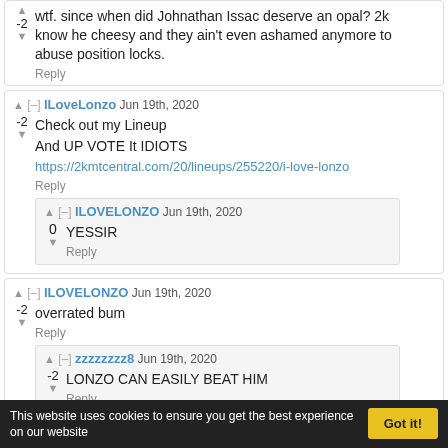-2 wtf. since when did Johnathan Issac deserve an opal? 2k know he cheesy and they ain't even ashamed anymore to abuse position locks.
Reply
ILoveLonzo Jun 19th, 2020
-2 Check out my Lineup
And UP VOTE It IDIOTS
https://2kmtcentral.com/20/lineups/255220/i-love-lonzo
Reply
ILOVELONZO Jun 19th, 2020
0 YESSIR
Reply
ILOVELONZO Jun 19th, 2020
-2 overrated bum
Reply
zzzzzzzz8 Jun 19th, 2020
-2 LONZO CAN EASILY BEAT HIM
Reply
ILOVELONZO Jun 19th, 2020
This website uses cookies to ensure you get the best experience on our website   Got it!